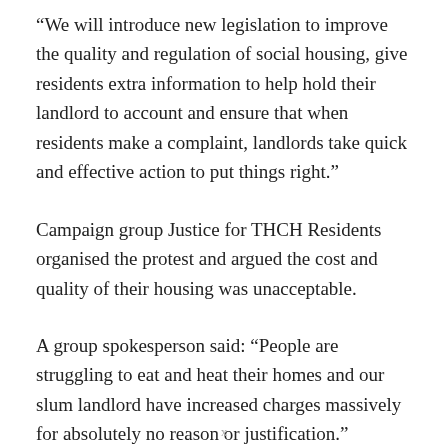“We will introduce new legislation to improve the quality and regulation of social housing, give residents extra information to help hold their landlord to account and ensure that when residents make a complaint, landlords take quick and effective action to put things right.”
Campaign group Justice for THCH Residents organised the protest and argued the cost and quality of their housing was unacceptable.
A group spokesperson said: “People are struggling to eat and heat their homes and our slum landlord have increased charges massively for absolutely no reason or justification.”
x